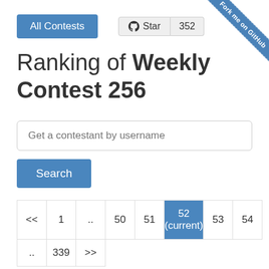[Figure (other): Fork me on GitHub diagonal ribbon banner in top-right corner]
All Contests
Star  352
Ranking of Weekly Contest 256
Get a contestant by username
Search
| << | 1 | .. | 50 | 51 | 52 (current) | 53 | 54 |
| .. | 339 | >> |  |  |  |  |  |
Country
All